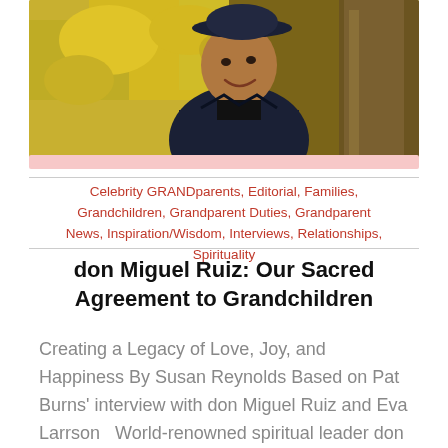[Figure (photo): Portrait photo of a smiling man wearing a dark hat and jacket, leaning against a tree with yellow foliage in the background (don Miguel Ruiz).]
Celebrity GRANDparents, Editorial, Families, Grandchildren, Grandparent Duties, Grandparent News, Inspiration/Wisdom, Interviews, Relationships, Spirituality
don Miguel Ruiz: Our Sacred Agreement to Grandchildren
Creating a Legacy of Love, Joy, and Happiness By Susan Reynolds Based on Pat Burns' interview with don Miguel Ruiz and Eva Larrson   World-renowned spiritual leader don Miguel Ruiz, author